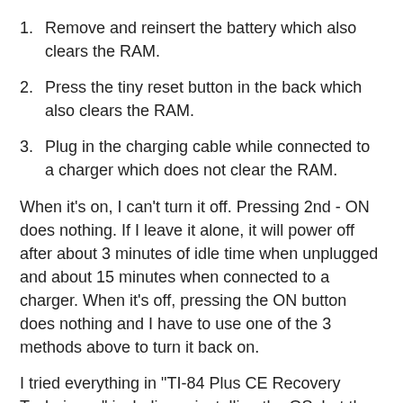Remove and reinsert the battery which also clears the RAM.
Press the tiny reset button in the back which also clears the RAM.
Plug in the charging cable while connected to a charger which does not clear the RAM.
When it's on, I can't turn it off. Pressing 2nd - ON does nothing. If I leave it alone, it will power off after about 3 minutes of idle time when unplugged and about 15 minutes when connected to a charger. When it's off, pressing the ON button does nothing and I have to use one of the 3 methods above to turn it back on.
I tried everything in "TI-84 Plus CE Recovery Techniques" including reinstalling the OS, but the problem is exactly the same which leads me to believe it's a hardware problem,